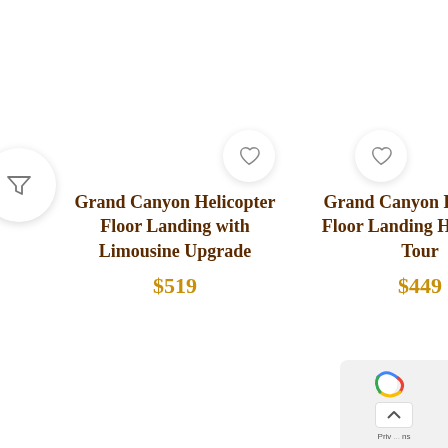[Figure (other): Filter funnel icon button (circular white button with shadow)]
[Figure (other): Heart/wishlist icon button for left product card]
Grand Canyon Helicopter Floor Landing with Limousine Upgrade
$519
[Figure (other): Heart/wishlist icon button for right product card]
Grand Canyon Exclusive Floor Landing Helicopter Tour
$449
[Figure (other): Google reCAPTCHA / scroll-to-top widget overlay in bottom-right corner]